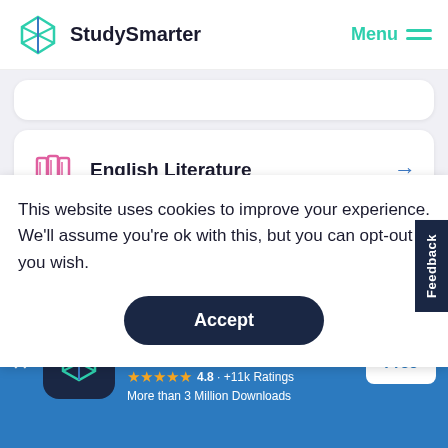StudySmarter  Menu
[Figure (logo): StudySmarter logo - teal geometric diamond shape with 'StudySmarter' text]
English Literature
This website uses cookies to improve your experience. We'll assume you're ok with this, but you can opt-out if you wish.
Accept
Feedback
StudySmarter - The all-in-one study app.
4.8 · +11k Ratings
More than 3 Million Downloads
Free